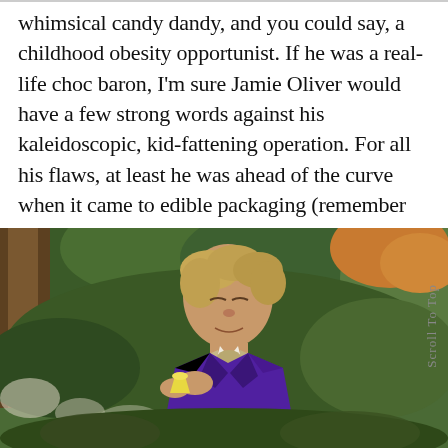whimsical candy dandy, and you could say, a childhood obesity opportunist. If he was a real-life choc baron, I'm sure Jamie Oliver would have a few strong words against his kaleidoscopic, kid-fattening operation. For all his flaws, at least he was ahead of the curve when it came to edible packaging (remember the edible tea cups? If you can't, see below).
[Figure (photo): Movie still of Gene Wilder as Willy Wonka in a purple suit and bow tie, holding a small yellow edible teacup and appearing to sip from it, surrounded by green foliage in a candy land setting. Text 'Scroll To Top' is overlaid vertically on the right side.]